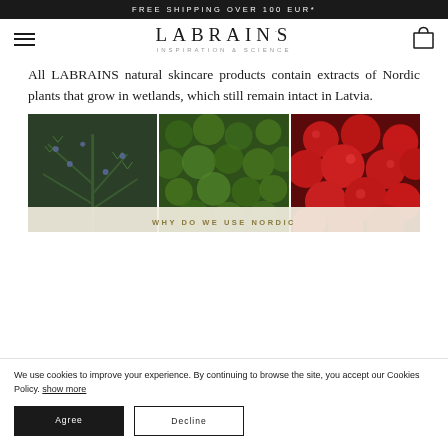FREE SHIPPING OVER 100 EUR*
[Figure (logo): LABRAINS INSPIRATION & SCIENCE logo with hamburger menu and shopping bag icon]
All LABRAINS natural skincare products contain extracts of Nordic plants that grow in wetlands, which still remain intact in Latvia.
[Figure (photo): Three side-by-side photos: juniper branches with berries, green moss, red cranberries]
WHY DO WE USE NORDIC
We use cookies to improve your experience. By continuing to browse the site, you accept our Cookies Policy. show more
Agree
Decline